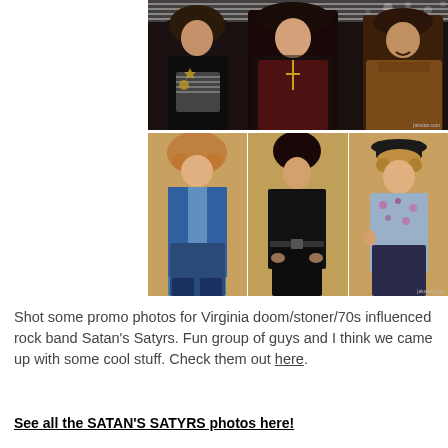[Figure (photo): Band group photo of four people with long hair, dark clothing, standing in front of blinds. One wears a striped shirt with a star, center person wears red shirt with a cross necklace, right person in brown/tan jacket.]
[Figure (photo): Three individual promo photos of band members against a golden/tan background. Left: person in blue denim vest. Center: person in black long-sleeve top. Right: person in floral shirt with black hat.]
Shot some promo photos for Virginia doom/stoner/70s influenced rock band Satan's Satyrs. Fun group of guys and I think we came up with some cool stuff. Check them out here.
See all the SATAN'S SATYRS photos here!